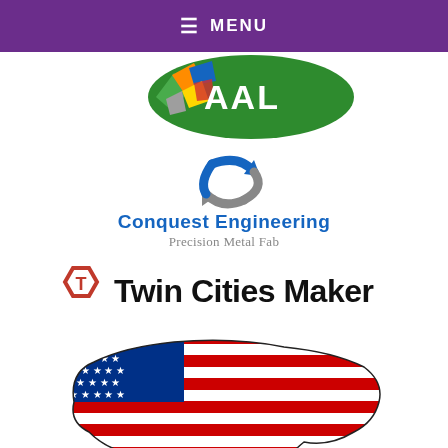≡ MENU
[Figure (logo): AAL logo — green oval with colorful geometric crystal shapes on the left and 'AAL' text in white on green background]
[Figure (logo): Conquest Engineering Precision Metal Fab logo — blue and gray recycling-style arrows icon above blue bold 'Conquest Engineering' text and gray 'Precision Metal Fab' subtitle]
[Figure (logo): Twin Cities Maker logo — dark red hexagonal 'T' icon followed by bold black 'Twin Cities Maker' text]
[Figure (illustration): Partially visible illustration of a US map shape filled with American flag stars and stripes pattern]